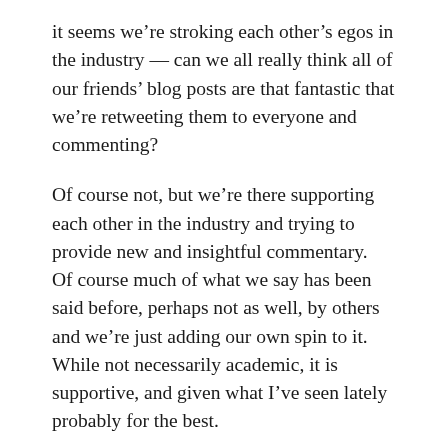it seems we're stroking each other's egos in the industry — can we all really think all of our friends' blog posts are that fantastic that we're retweeting them to everyone and commenting?
Of course not, but we're there supporting each other in the industry and trying to provide new and insightful commentary.  Of course much of what we say has been said before, perhaps not as well, by others and we're just adding our own spin to it.  While not necessarily academic, it is supportive, and given what I've seen lately probably for the best.
Now, as far as “Man(ning) Up” …
Over the last several weeks (and the last week in particular) I've seen a number of negative, condescending, passive aggressive and/or half-assed